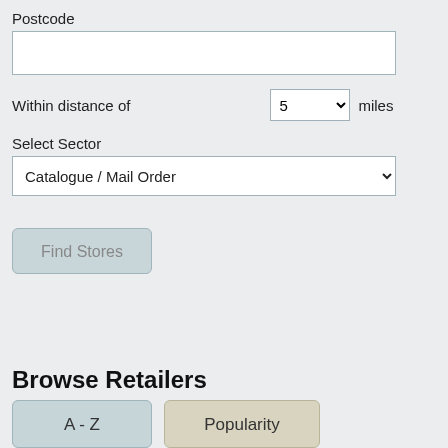Postcode
Within distance of   5   miles
Select Sector
Catalogue / Mail Order
Find Stores
Browse Retailers
A - Z
Popularity